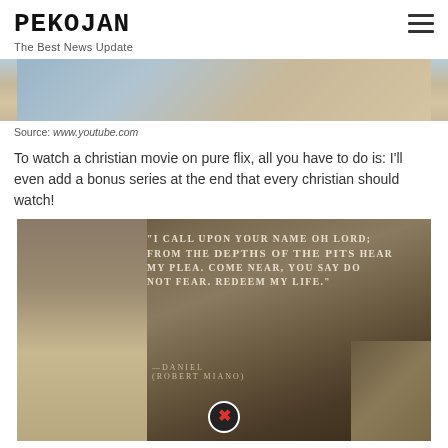PEKOJAN
The Best News Update
[Figure (photo): Partial view of a movie or video still — blurred figures, light tones]
Source: www.youtube.com
To watch a christian movie on pure flix, all you have to do is: I'll even add a bonus series at the end that every christian should watch!
[Figure (photo): Movie promotional image showing an elderly bearded man (Daniel, played by Robert Miano) raising his hand among lions. Text overlay reads: "I CALL UPON YOUR NAME OH LORD; FROM THE DEPTHS OF THE PITS HEAR MY PLEA. COME NEAR, YOU SAY DO NOT FEAR. REDEEM MY LIFE." — DANIEL (ROBERT MIANO). A close button icon appears at the bottom center.]